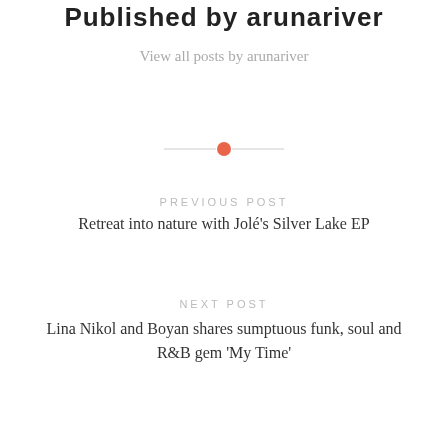Published by arunariver
View all posts by arunariver
PREVIOUS POST
Retreat into nature with Jolé's Silver Lake EP
NEXT POST
Lina Nikol and Boyan shares sumptuous funk, soul and R&B gem 'My Time'